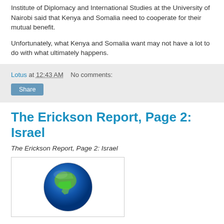Institute of Diplomacy and International Studies at the University of Nairobi said that Kenya and Somalia need to cooperate for their mutual benefit.
Unfortunately, what Kenya and Somalia want may not have a lot to do with what ultimately happens.
Lotus at 12:43 AM   No comments:
The Erickson Report, Page 2: Israel
The Erickson Report, Page 2: Israel
[Figure (illustration): A globe showing the Earth with North America visible, rendered in blue and green tones.]